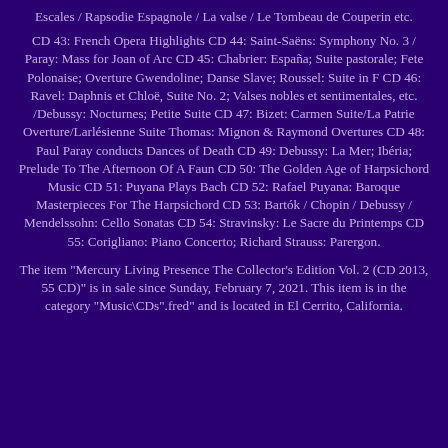Escales / Rapsodie Espagnole / La valse / Le Tombeau de Couperin etc.
CD 43: French Opera Highlights CD 44: Saint-Saëns: Symphony No. 3 / Paray: Mass for Joan of Arc CD 45: Chabrier: España; Suite pastorale; Fete Polonaise; Overture Gwendoline; Danse Slave; Roussel: Suite in F CD 46: Ravel: Daphnis et Chloë, Suite No. 2; Valses nobles et sentimentales, etc. /Debussy: Nocturnes; Petite Suite CD 47: Bizet: Carmen Suite/La Patrie Overture/Larlésienne Suite Thomas: Mignon & Raymond Overtures CD 48: Paul Paray conducts Dances of Death CD 49: Debussy: La Mer; Ibéria; Prelude To The Afternoon Of A Faun CD 50: The Golden Age of Harpsichord Music CD 51: Puyana Plays Bach CD 52: Rafael Puyana: Baroque Masterpieces For The Harpsichord CD 53: Bartók / Chopin / Debussy / Mendelssohn: Cello Sonatas CD 54: Stravinsky: Le Sacre du Printemps CD 55: Corigliano: Piano Concerto; Richard Strauss: Parergon.
The item "Mercury Living Presence The Collector's Edition Vol. 2 (CD 2013, 55 CD)" is in sale since Sunday, February 7, 2021. This item is in the category "Music\CDs".fred" and is located in El Cerrito, California.